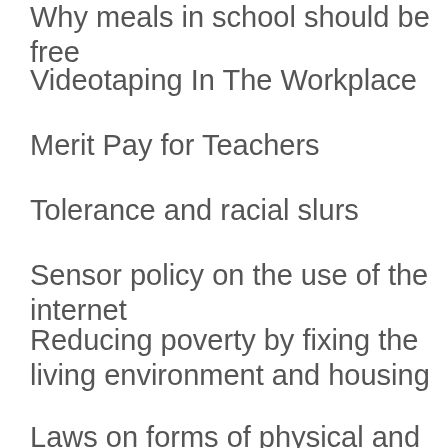Why meals in school should be free
Videotaping In The Workplace
Merit Pay for Teachers
Tolerance and racial slurs
Sensor policy on the use of the internet
Reducing poverty by fixing the living environment and housing
Laws on forms of physical and emotional